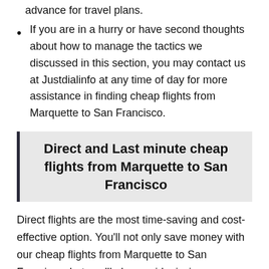advance for travel plans.
If you are in a hurry or have second thoughts about how to manage the tactics we discussed in this section, you may contact us at Justdialinfo at any time of day for more assistance in finding cheap flights from Marquette to San Francisco.
Direct and Last minute cheap flights from Marquette to San Francisco
Direct flights are the most time-saving and cost-effective option. You'll not only save money with our cheap flights from Marquette to San Francisco, but you'll also avoid missing your connecting flight because you won't have to bother about connecting or changing airports, even if you are booking tickets at the last minute. Every month, around 330 direct flights fly from Marquette to San Francisco.